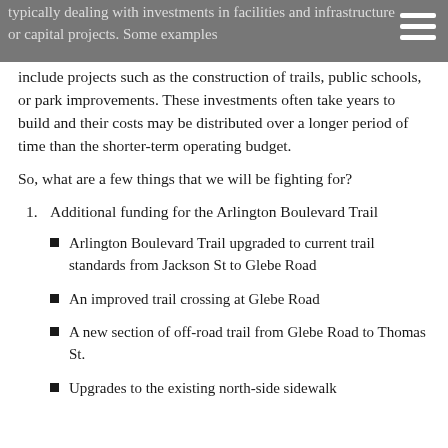typically dealing with investments in facilities and infrastructure or capital projects. Some examples include projects such as the construction of trails, public schools, or park improvements. These investments often take years to build and their costs may be distributed over a longer period of time than the shorter-term operating budget.
So, what are a few things that we will be fighting for?
1. Additional funding for the Arlington Boulevard Trail
Arlington Boulevard Trail upgraded to current trail standards from Jackson St to Glebe Road
An improved trail crossing at Glebe Road
A new section of off-road trail from Glebe Road to Thomas St.
Upgrades to the existing north-side sidewalk to trail width from Thomas St to G...